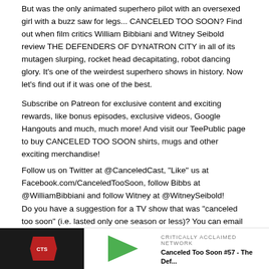But was the only animated superhero pilot with an oversexed girl with a buzz saw for legs... CANCELED TOO SOON? Find out when film critics William Bibbiani and Witney Seibold review THE DEFENDERS OF DYNATRON CITY in all of its mutagen slurping, rocket head decapitating, robot dancing glory. It's one of the weirdest superhero shows in history. Now let's find out if it was one of the best.
Subscribe on Patreon for exclusive content and exciting rewards, like bonus episodes, exclusive videos, Google Hangouts and much, much more! And visit our TeePublic page to buy CANCELED TOO SOON shirts, mugs and other exciting merchandise!
Follow us on Twitter at @CanceledCast, "Like" us at Facebook.com/CanceledTooSoon, follow Bibbs at @WilliamBibbiani and follow Witney at @WitneySeibold!
Do you have a suggestion for a TV show that was "canceled too soon" (i.e. lasted only one season or less)? You can email us at canceledtoosoon@gmail.com, or you can head over to our Amazon Wish List to send us more exciting one season wonders that we can review on the show!
Theme Song: "The C2S Team" by Andy Hentz
[Figure (other): Bottom bar with podcast thumbnail image (dark background with logo), green play button graphic, and text showing 'CRITICALLY ACCLAIMED NETWORK' and 'Canceled Too Soon #57 - The Def...']